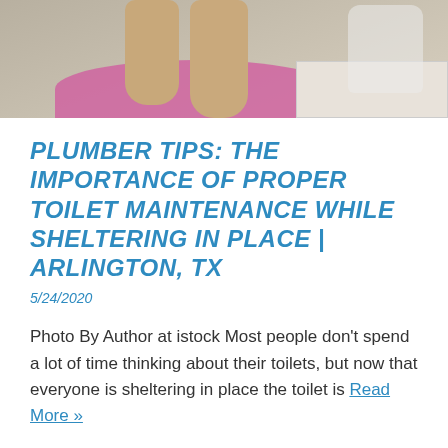[Figure (photo): Close-up photo of child's bare feet standing on a pink bath rug near a toilet, with white tile floor visible]
PLUMBER TIPS: THE IMPORTANCE OF PROPER TOILET MAINTENANCE WHILE SHELTERING IN PLACE | ARLINGTON, TX
5/24/2020
Photo By Author at istock Most people don't spend a lot of time thinking about their toilets, but now that everyone is sheltering in place the toilet is Read More »